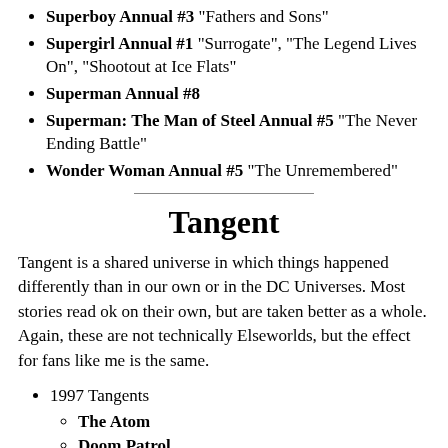Superboy Annual #3 "Fathers and Sons"
Supergirl Annual #1 "Surrogate", "The Legend Lives On", "Shootout at Ice Flats"
Superman Annual #8
Superman: The Man of Steel Annual #5 "The Never Ending Battle"
Wonder Woman Annual #5 "The Unremembered"
Tangent
Tangent is a shared universe in which things happened differently than in our own or in the DC Universes. Most stories read ok on their own, but are taken better as a whole. Again, these are not technically Elseworlds, but the effect for fans like me is the same.
1997 Tangents
The Atom
Doom Patrol
Green Lantern
Flash